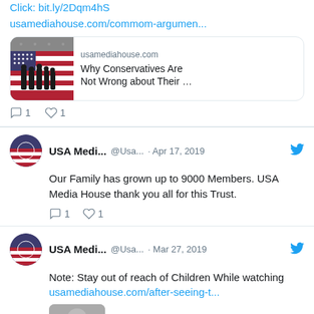Click: bit.ly/2Dqm4hS
usamediahouse.com/commom-argumen...
[Figure (screenshot): Link preview card showing usamediahouse.com with image of silhouettes against American flag background. Title: Why Conservatives Are Not Wrong about Their …]
1  1 (reply and like counts)
USA Medi... @Usa... · Apr 17, 2019
Our Family has grown up to 9000 Members. USA Media House thank you all for this Trust.
1  1 (reply and like counts)
USA Medi... @Usa... · Mar 27, 2019
Note: Stay out of reach of Children While watching usamediahouse.com/after-seeing-t...
[Figure (photo): Partial image of a person visible at the bottom of the page]